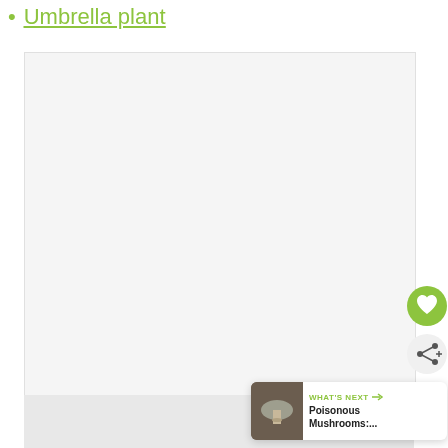Umbrella plant
[Figure (photo): Large white/light grey rectangular image area, mostly blank/white, representing a plant photo placeholder]
[Figure (infographic): UI overlay elements: green heart button, grey share button, and a 'WHAT'S NEXT' card showing a mushroom thumbnail with text 'Poisonous Mushrooms:...']